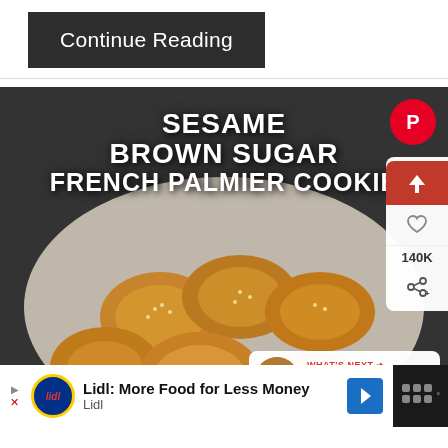Continue Reading
[Figure (photo): Sesame Brown Sugar French Palmier Cookies on parchment paper, golden-brown flaky pastry cookies topped with sesame seeds, on a dark floral background. Overlay text: SESAME BROWN SUGAR FRENCH PALMIER COOKIE. UI elements: Pinterest button, share/upload/heart icons, 140K count, What's Next panel showing Christmas Crack AKA...]
Lidl: More Food for Less Money — Lidl